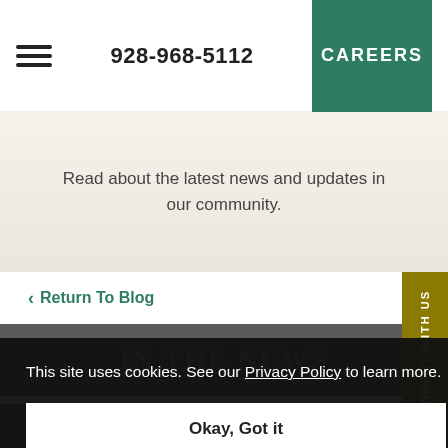928-968-5112 | CAREERS
Read about the latest news and updates in our community.
Return To Blog
[Figure (photo): Blog article hero image, partially visible, dark tones with text overlay]
This site uses cookies. See our Privacy Policy to learn more.
Okay, Got it
928-968-5112 | Email